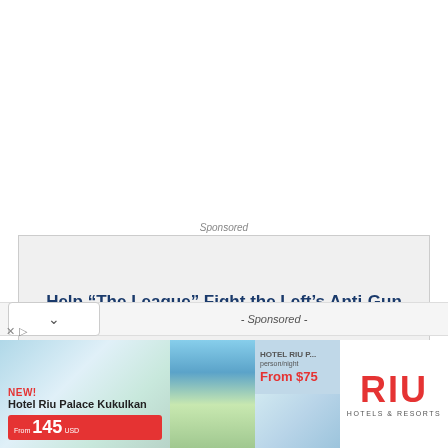Sponsored
[Figure (screenshot): Sponsored advertisement box with bold blue headline: Help “The League” Fight the Left’s Anti-Gun Agenda!]
All eyes are on the United States Senate today as the chamber prepares for two Second Amendment showdowns that are likely to happen this week.
- Sponsored -
[Figure (screenshot): RIU Hotels & Resorts advertisement featuring Hotel Riu Palace Kukulkan, price from 145 USD and From $75 per night, with hotel photos and RIU logo.]